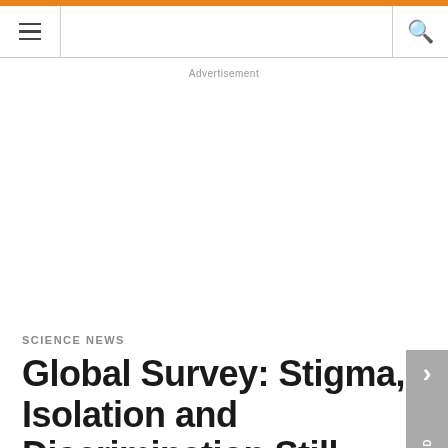Science News
Advertisement
SCIENCE NEWS
Global Survey: Stigma, Isolation and Discrimination Still Pervasive